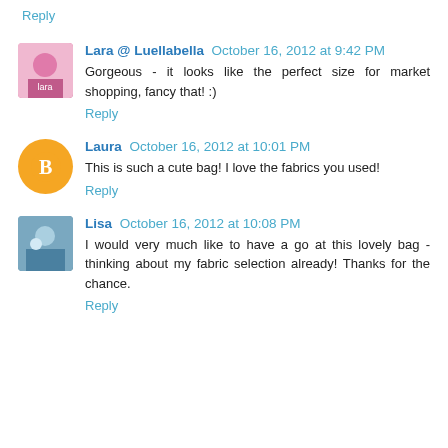Reply
Lara @ Luellabella October 16, 2012 at 9:42 PM
Gorgeous - it looks like the perfect size for market shopping, fancy that! :)
Reply
Laura October 16, 2012 at 10:01 PM
This is such a cute bag! I love the fabrics you used!
Reply
Lisa October 16, 2012 at 10:08 PM
I would very much like to have a go at this lovely bag - thinking about my fabric selection already! Thanks for the chance.
Reply